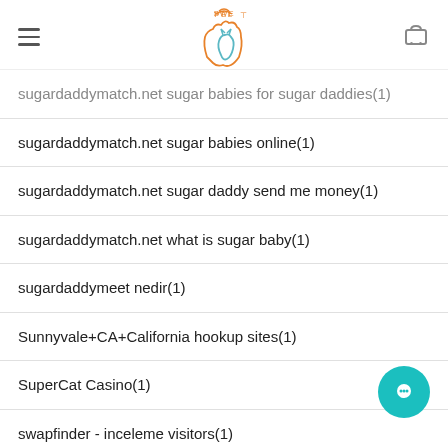SweePel logo with hamburger menu and cart icon
sugardaddymatch.net sugar babies for sugar daddies(1)
sugardaddymatch.net sugar babies online(1)
sugardaddymatch.net sugar daddy send me money(1)
sugardaddymatch.net what is sugar baby(1)
sugardaddymeet nedir(1)
Sunnyvale+CA+California hookup sites(1)
SuperCat Casino(1)
swapfinder - inceleme visitors(1)
swinging heaven es reviews(1)
Swipe pagina para ligar(1)